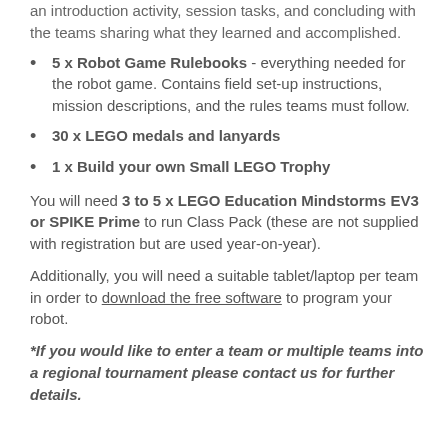an introduction activity, session tasks, and concluding with the teams sharing what they learned and accomplished.
5 x Robot Game Rulebooks - everything needed for the robot game. Contains field set-up instructions, mission descriptions, and the rules teams must follow.
30 x LEGO medals and lanyards
1 x Build your own Small LEGO Trophy
You will need 3 to 5 x LEGO Education Mindstorms EV3 or SPIKE Prime to run Class Pack (these are not supplied with registration but are used year-on-year).
Additionally, you will need a suitable tablet/laptop per team in order to download the free software to program your robot.
*If you would like to enter a team or multiple teams into a regional tournament please contact us for further details.